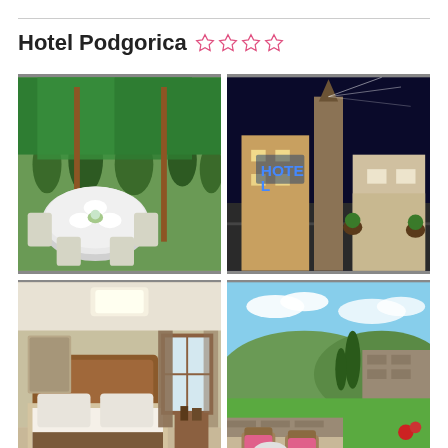Hotel Podgorica ☆☆☆☆
[Figure (photo): Outdoor terrace dining with round tables set for a wedding or event, green umbrellas overhead, lush garden in background]
[Figure (photo): Hotel exterior at night with blue illuminated HOTEL sign and spotlight on stone column]
[Figure (photo): Hotel room interior with double bed, wooden headboard, curtains, and ceiling light]
[Figure (photo): Outdoor terrace with garden view, wicker chairs with pink cushions and a small round table]